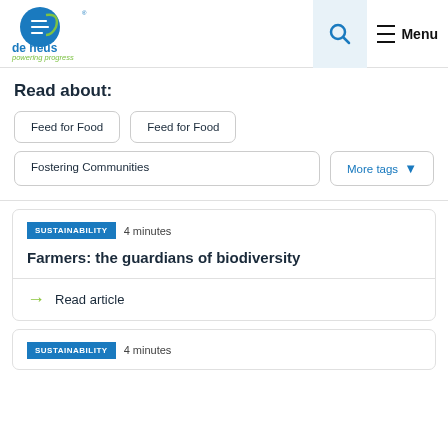[Figure (logo): De Heus logo — blue circular icon with white arrow lines, green swoosh, text 'de heus' in blue, tagline 'powering progress' in green italic]
Read about:
Feed for Food
Feed for Food
Fostering Communities
More tags ▾
SUSTAINABILITY · 4 minutes
Farmers: the guardians of biodiversity
→ Read article
SUSTAINABILITY · 4 minutes